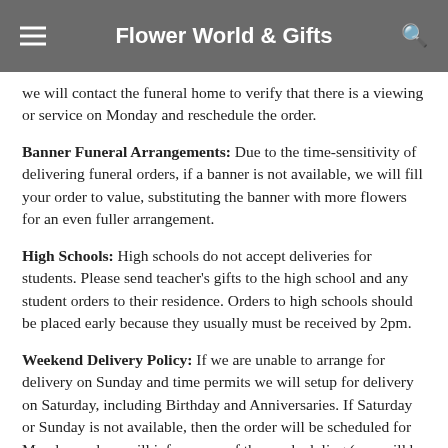Flower World & Gifts
we will contact the funeral home to verify that there is a viewing or service on Monday and reschedule the order.
Banner Funeral Arrangements: Due to the time-sensitivity of delivering funeral orders, if a banner is not available, we will fill your order to value, substituting the banner with more flowers for an even fuller arrangement.
High Schools: High schools do not accept deliveries for students. Please send teacher's gifts to the high school and any student orders to their residence. Orders to high schools should be placed early because they usually must be received by 2pm.
Weekend Delivery Policy: If we are unable to arrange for delivery on Sunday and time permits we will setup for delivery on Saturday, including Birthday and Anniversaries. If Saturday or Sunday is not available, then the order will be scheduled for Monday and we will inform you of the rescheduling (you will be contacted first before rescheduling